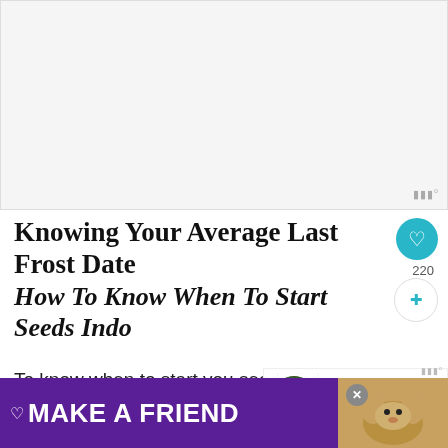[Figure (photo): Blank/empty video or image placeholder area with Wistia watermark in bottom-right corner]
Knowing Your Average Last Frost Date & How To Know When To Start Seeds Indoors
To know when to start you seeds indoors, you first need to know when your average last frost date is. That is the day in your area that is ...out
[Figure (photo): What's Next panel showing a circular thumbnail of a green plant and text: WHAT'S NEXT → How To Start Vegetable...]
[Figure (other): Purple advertisement banner reading MAKE A FRIEND with dog image and close button]